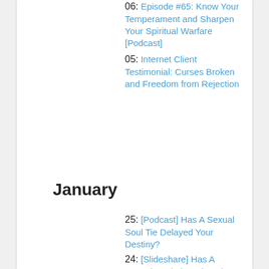06: Episode #65: Know Your Temperament and Sharpen Your Spiritual Warfare [Podcast]
05: Internet Client Testimonial: Curses Broken and Freedom from Rejection
January
25: [Podcast] Has A Sexual Soul Tie Delayed Your Destiny?
24: [Slideshare] Has A Sexual Soul Tie Delayed Your Destiny?